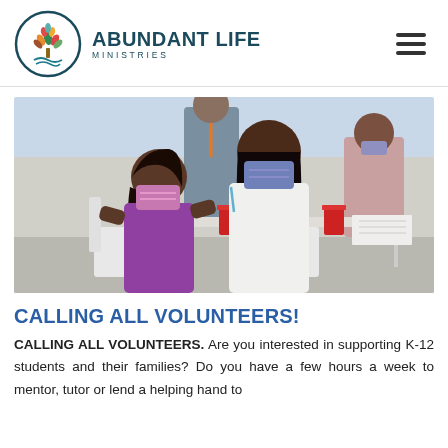ABUNDANT LIFE MINISTRIES
[Figure (photo): People wearing face masks sitting at an outdoor table. A young girl in a purple shirt and a woman with long dark hair are visible, along with another person in the background. Red cups and notebooks are on the table.]
CALLING ALL VOLUNTEERS!
CALLING ALL VOLUNTEERS. Are you interested in supporting K-12 students and their families? Do you have a few hours a week to mentor, tutor or lend a helping hand to